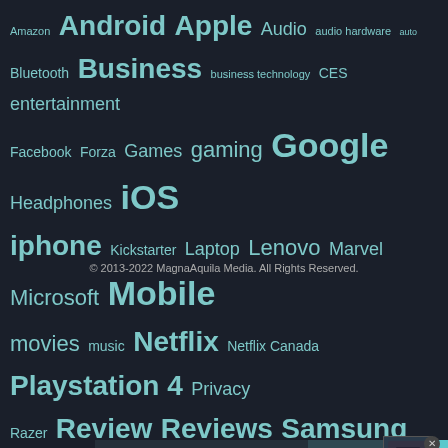[Figure (infographic): Tag cloud of technology topics on dark background including terms like Amazon, Android, Apple, Audio, Bluetooth, Business, Games, gaming, Google, Headphones, iOS, iphone, Kickstarter, Laptop, Lenovo, Marvel, Microsoft, Mobile, movies, music, Netflix, Netflix Canada, Playstation 4, Privacy, Razer, Review, Reviews, Samsung, Security, Smartphone, Sony, Star Wars, tech, technology, TV, Windows 10, Xbox, Xbox One]
© 2013-2022 MagnaAquila Media. All Rights Reserved.
[Figure (screenshot): Video player overlay with message: No compatible source was found for this media. Lenovo Tablets advertisement visible on right side. Help send medical aid to Ukraine orange banner at bottom.]